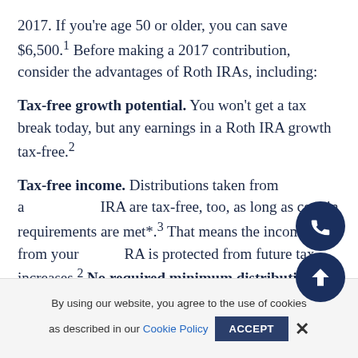2017. If you're age 50 or older, you can save $6,500.¹ Before making a 2017 contribution, consider the advantages of Roth IRAs, including:
Tax-free growth potential. You won't get a tax break today, but any earnings in a Roth IRA growth tax-free.²
Tax-free income. Distributions taken from a Roth IRA are tax-free, too, as long as certain requirements are met*.³ That means the income from your Roth IRA is protected from future tax increases.² No required minimum distributions. You can leave the money in your Roth IRA until your heirs inherit it. You can't do
By using our website, you agree to the use of cookies as described in our Cookie Policy   ACCEPT  ✕